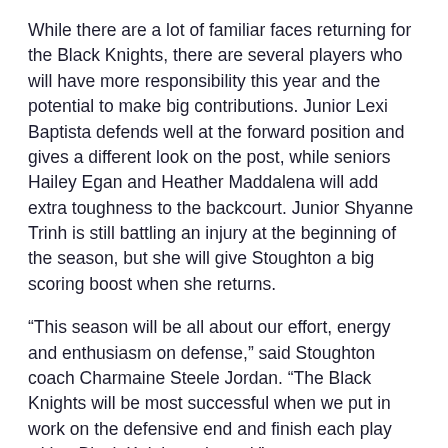While there are a lot of familiar faces returning for the Black Knights, there are several players who will have more responsibility this year and the potential to make big contributions. Junior Lexi Baptista defends well at the forward position and gives a different look on the post, while seniors Hailey Egan and Heather Maddalena will add extra toughness to the backcourt. Junior Shyanne Trinh is still battling an injury at the beginning of the season, but she will give Stoughton a big scoring boost when she returns.
“This season will be all about our effort, energy and enthusiasm on defense,” said Stoughton coach Charmaine Steele Jordan. “The Black Knights will be most successful when we put in work on the defensive end and finish each play with a Black Knights rebound.”
TAUNTON
2017-2018 Record: 7-15